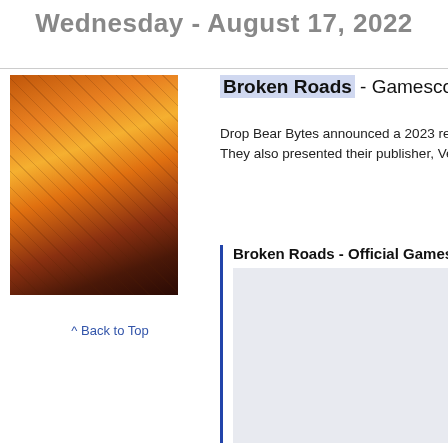Wednesday - August 17, 2022
[Figure (illustration): Game artwork for Broken Roads showing silhouetted figures against a dramatic orange sunset sky]
^ Back to Top
Broken Roads - Gamescom…
Drop Bear Bytes announced a 2023 release for B… They also presented their publisher, Versus Evil:
Broken Roads - Official Games…
[Figure (screenshot): Embedded video player showing Broken Roads Official Gamescom trailer, light grey background with dark scrollbar on right]